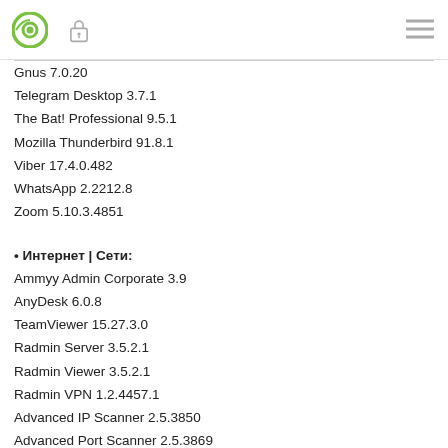[Logo] [Lock icon] [Menu icon]
Gnus 7.0.20
Telegram Desktop 3.7.1
The Bat! Professional 9.5.1
Mozilla Thunderbird 91.8.1
Viber 17.4.0.482
WhatsApp 2.2212.8
Zoom 5.10.3.4851
• Интернет | Сети:
Ammyy Admin Corporate 3.9
AnyDesk 6.0.8
TeamViewer 15.27.3.0
Radmin Server 3.5.2.1
Radmin Viewer 3.5.2.1
Radmin VPN 1.2.4457.1
Advanced IP Scanner 2.5.3850
Advanced Port Scanner 2.5.3869
NoMachine 7.9.2
Air Explorer Pro 4.0.1